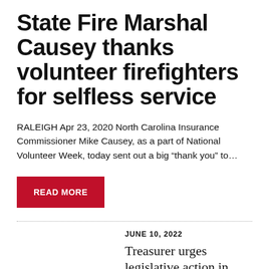State Fire Marshal Causey thanks volunteer firefighters for selfless service
RALEIGH Apr 23, 2020 North Carolina Insurance Commissioner Mike Causey, as a part of National Volunteer Week, today sent out a big “thank you” to…
READ MORE
JUNE 10, 2022
Treasurer urges legislative action in wake of Spring Lake official’s